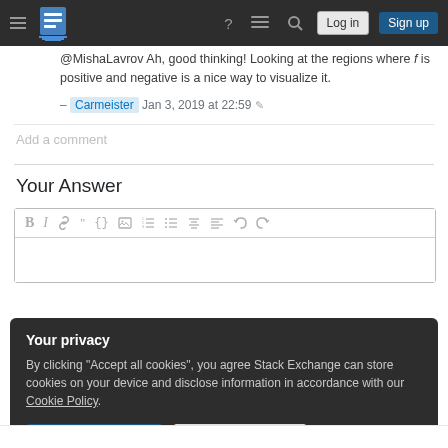Stack Exchange navigation bar with hamburger menu, logo, help, chat, search icons, Log in and Sign up buttons
@MishaLavrov Ah, good thinking! Looking at the regions where f is positive and negative is a nice way to visualize it. – Carmeister Jan 3, 2019 at 22:59
Add a comment
Your Answer
[Figure (screenshot): Text editor toolbar with formatting icons: B, I, link, quote, code, image, ordered list, unordered list, align options, undo, redo]
Your privacy
By clicking "Accept all cookies", you agree Stack Exchange can store cookies on your device and disclose information in accordance with our Cookie Policy.
Accept all cookies | Customize settings